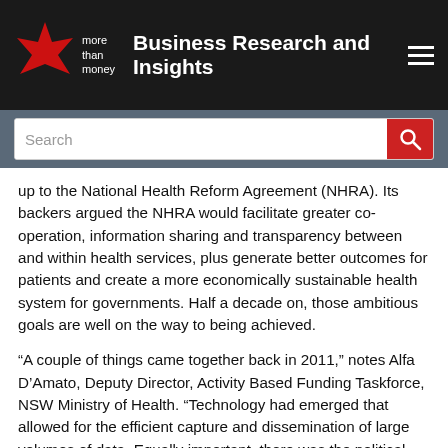Business Research and Insights
[Figure (logo): More than money red star logo with text 'more than money']
up to the National Health Reform Agreement (NHRA). Its backers argued the NHRA would facilitate greater co-operation, information sharing and transparency between and within health services, plus generate better outcomes for patients and create a more economically sustainable health system for governments. Half a decade on, those ambitious goals are well on the way to being achieved.
“A couple of things came together back in 2011,” notes Alfa D’Amato, Deputy Director, Activity Based Funding Taskforce, NSW Ministry of Health. “Technology had emerged that allowed for the efficient capture and dissemination of large volumes of data. Equally important, there was the political will to change the way things had traditionally been done.”
The Australian hospital system’s embrace of big health data laid the groundwork for implementing what’s known as Activity